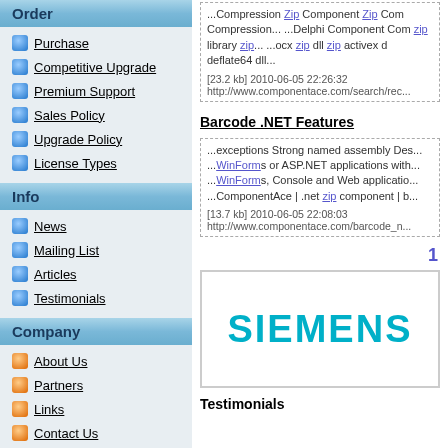Order
Purchase
Competitive Upgrade
Premium Support
Sales Policy
Upgrade Policy
License Types
Info
News
Mailing List
Articles
Testimonials
Company
About Us
Partners
Links
Contact Us
...Compression Zip Component Zip Compression... ...Delphi Component Compression... zip library zip... ...ocx zip dll zip activex deflate64 dll...
[23.2 kb] 2010-06-05 22:26:32
http://www.componentace.com/search/rec...
Barcode .NET Features
...exceptions Strong named assembly Des... ...WinForms or ASP.NET applications with... ...WinForms, Console and Web applicatio... ...ComponentAce | .net zip component | b...
[13.7 kb] 2010-06-05 22:08:03
http://www.componentace.com/barcode_n...
[Figure (logo): Siemens logo in teal/cyan text on white background]
Testimonials